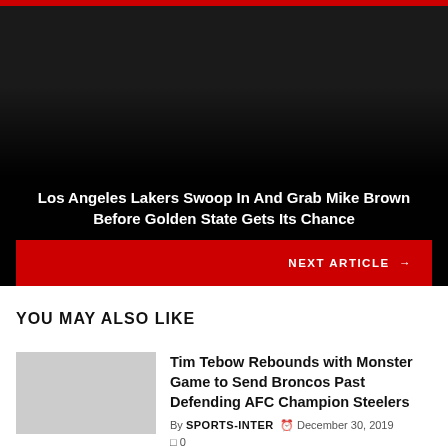[Figure (photo): Dark hero image area with gradient overlay for a sports article about Los Angeles Lakers and Mike Brown]
Los Angeles Lakers Swoop In And Grab Mike Brown Before Golden State Gets Its Chance
NEXT ARTICLE →
YOU MAY ALSO LIKE
[Figure (photo): Thumbnail image placeholder for Tim Tebow article]
Tim Tebow Rebounds with Monster Game to Send Broncos Past Defending AFC Champion Steelers
By SPORTS-INTER  December 30, 2019  0